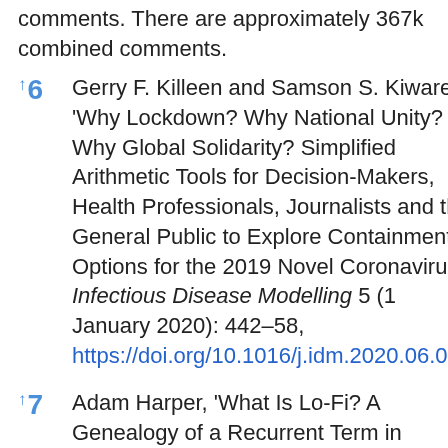comments. There are approximately 367k combined comments.
↑6 Gerry F. Killeen and Samson S. Kiware, 'Why Lockdown? Why National Unity? Why Global Solidarity? Simplified Arithmetic Tools for Decision-Makers, Health Professionals, Journalists and the General Public to Explore Containment Options for the 2019 Novel Coronavirus', Infectious Disease Modelling 5 (1 January 2020): 442–58, https://doi.org/10.1016/j.idm.2020.06.006.
↑7 Adam Harper, 'What Is Lo-Fi? A Genealogy of a Recurrent Term in the...